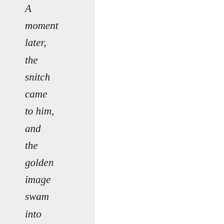A moment later, the snitch came to him, and the golden image swam into focus. He realised it was not a snitch, but the ring he had given to Ginny two nights before." Kisses, reunions, celebrations,